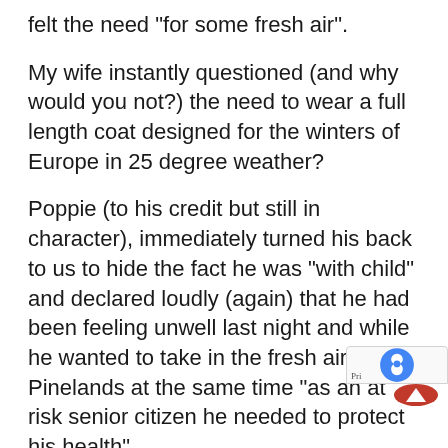felt the need “for some fresh air”.
My wife instantly questioned (and why would you not?) the need to wear a full length coat designed for the winters of Europe in 25 degree weather?
Poppie (to his credit but still in character), immediately turned his back to us to hide the fact he was “with child” and declared loudly (again) that he had been feeling unwell last night and while he wanted to take in the fresh air of Pinelands at the same time “as an at risk senior citizen he needed to protect his health”.
Two things here dear Diary.